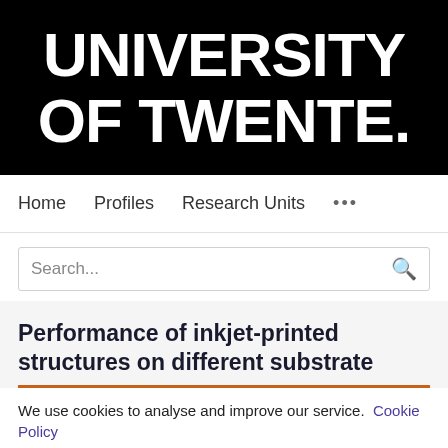[Figure (logo): University of Twente logo — white bold text 'UNIVERSITY OF TWENTE.' on black background]
Home   Profiles   Research Units   ...
Search...
Performance of inkjet-printed structures on different substrate
We use cookies to analyse and improve our service. Cookie Policy